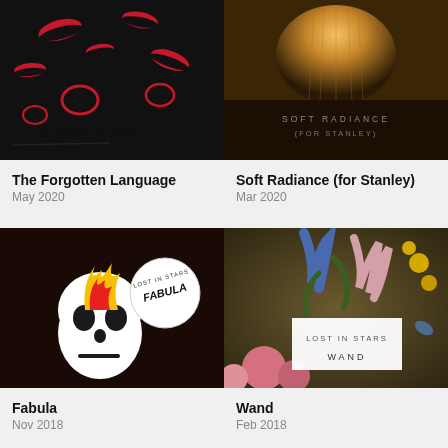[Figure (illustration): Album art for The Forgotten Language – black background with red lips/mouth shapes and handwritten text 'The Forgotten Language']
The Forgotten Language
May 2020
[Figure (photo): Album art for Soft Radiance (for Stanley) – close-up of warm glowing light with text 'SOFT RADIANCE (FOR STANLEY)']
Soft Radiance (for Stanley)
Mar 2020
[Figure (illustration): Album art for Fabula – white skull with flame and circular badge reading 'LOST IN STARS FABULA' on dark background]
Fabula
Nov 2018
[Figure (illustration): Album art for Wand – classical floral painting with white box overlay reading 'LOST IN STARS WAND']
Wand
Feb 2018
more releases...